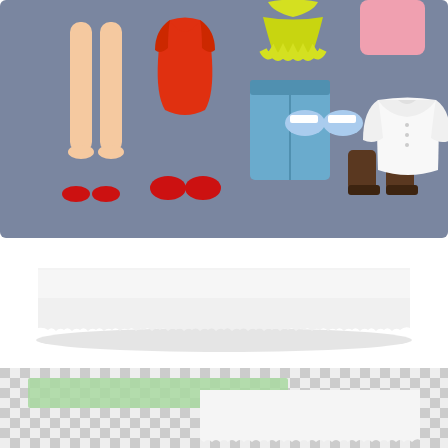[Figure (illustration): Fashion paper doll illustration on a grayish-blue background showing a female figure's legs, a red mini dress, yellow ruffled top, blue jeans, pink top, red shoes, white sneakers, brown boots, and a white blouse arranged as clothing options]
[Figure (illustration): A torn piece of white paper strip with ragged edges on a white background, showing a shadow beneath it]
[Figure (illustration): A transparent checkerboard background with a green washi tape strip and a torn white paper piece attached to it, showing partial transparency]